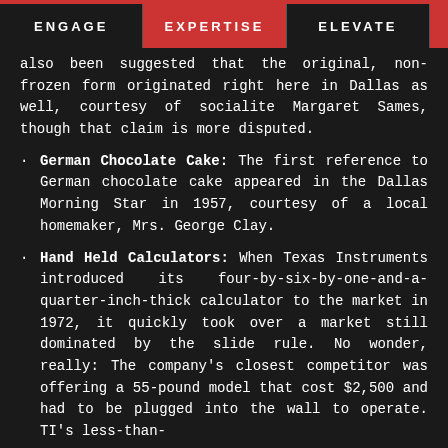ENGAGE   EXPERTISE   ELEVATE
also been suggested that the original, non-frozen form originated right here in Dallas as well, courtesy of socialite Margaret Sames, though that claim is more disputed.
German Chocolate Cake: The first reference to German chocolate cake appeared in the Dallas Morning Star in 1957, courtesy of a local homemaker, Mrs. George Clay.
Hand Held Calculators: When Texas Instruments introduced its four-by-six-by-one-and-a-quarter-inch-thick calculator to the market in 1972, it quickly took over a market still dominated by the slide rule. No wonder, really: The company's closest competitor was offering a 55-pound model that cost $2,500 and had to be plugged into the wall to operate. TI's less-than-